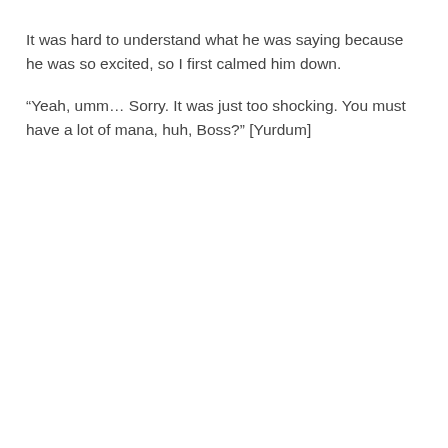It was hard to understand what he was saying because he was so excited, so I first calmed him down.
“Yeah, umm… Sorry. It was just too shocking. You must have a lot of mana, huh, Boss?” [Yurdum]